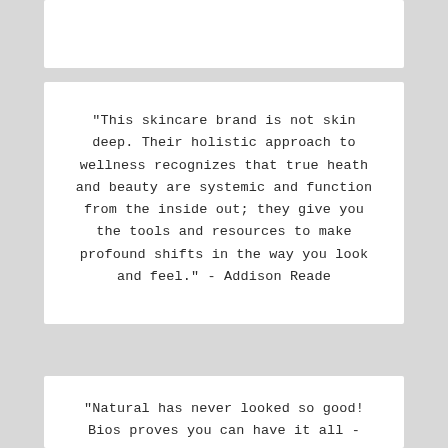"This skincare brand is not skin deep. Their holistic approach to wellness recognizes that true heath and beauty are systemic and function from the inside out; they give you the tools and resources to make profound shifts in the way you look and feel." - Addison Reade
"Natural has never looked so good! Bios proves you can have it all - high